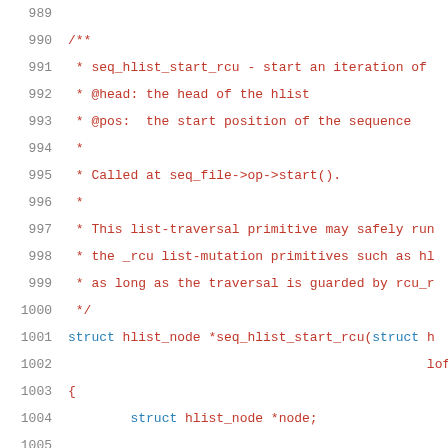[Figure (screenshot): Source code listing in C, lines 989-1009, showing seq_hlist_start_rcu function with documentation comment and code body. Line numbers in grey on left, comment text in red/dark red, keywords in blue, numeric literal in green.]